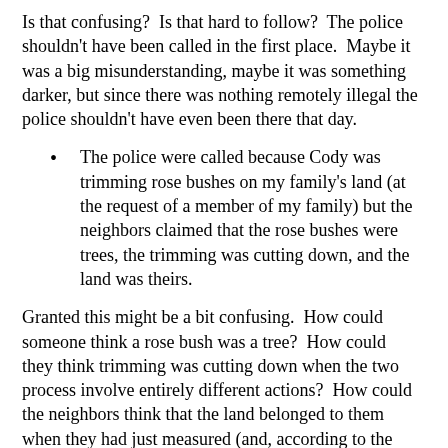Is that confusing?  Is that hard to follow?  The police shouldn't have been called in the first place.  Maybe it was a big misunderstanding, maybe it was something darker, but since there was nothing remotely illegal the police shouldn't have even been there that day.
The police were called because Cody was trimming rose bushes on my family's land (at the request of a member of my family) but the neighbors claimed that the rose bushes were trees, the trimming was cutting down, and the land was theirs.
Granted this might be a bit confusing.  How could someone think a rose bush was a tree?  How could they think trimming was cutting down when the two process involve entirely different actions?  How could the neighbors think that the land belonged to them when they had just measured (and, according to the police, photocopied) an actual real live boundary survey by an